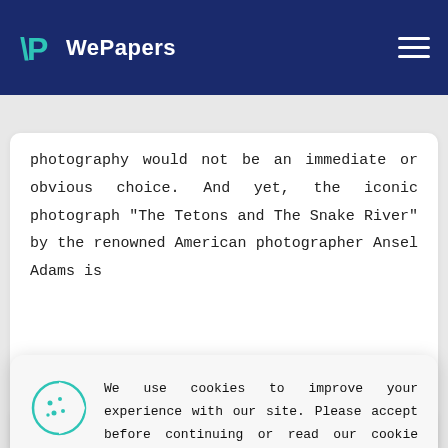WePapers
photography would not be an immediate or obvious choice. And yet, the iconic photograph “The Tetons and The Snake River” by the renowned American photographer Ansel Adams is
We use cookies to improve your experience with our site. Please accept before continuing or read our cookie policy here.
ACCEPT
photography   art   photograph   artwork   river   nature   water   snake